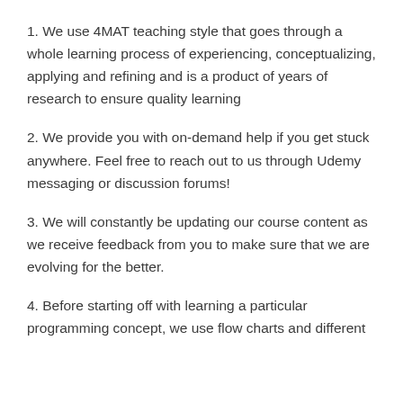1. We use 4MAT teaching style that goes through a whole learning process of experiencing, conceptualizing, applying and refining and is a product of years of research to ensure quality learning
2. We provide you with on-demand help if you get stuck anywhere. Feel free to reach out to us through Udemy messaging or discussion forums!
3. We will constantly be updating our course content as we receive feedback from you to make sure that we are evolving for the better.
4. Before starting off with learning a particular programming concept, we use flow charts and different